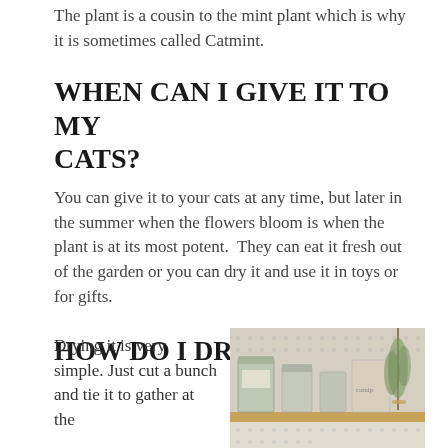The plant is a cousin to the mint plant which is why it is sometimes called Catmint.
WHEN CAN I GIVE IT TO MY CATS?
You can give it to your cats at any time, but later in the summer when the flowers bloom is when the plant is at its most potent.  They can eat it fresh out of the garden or you can dry it and use it in toys or for gifts.
HOW DO I DRY CATNIP?
Drying it is very simple. Just cut a bunch and tie it to gather at the
[Figure (photo): Photo of jars and dried herb bundles on a wooden shelf with a pegboard background]